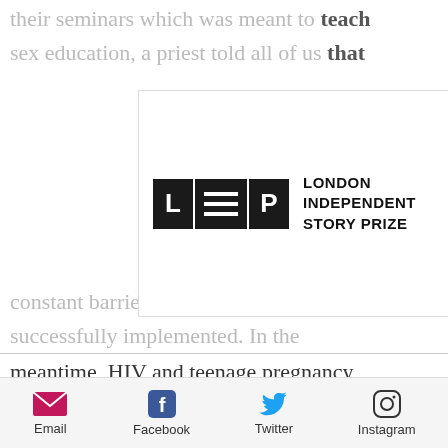their seminars which was meant to teach sex education, a priest told all of us that [logo overlay] constant barriers, and has yet to be successfully implemented. In the meantime, HIV and teenage pregnancy cases are at an all time high in the country. I recently attended a local STI awareness seminar where the number one form of birth control they advised was abstinence. Number two was don't cheat on your partner. Duh. Th...
[Figure (logo): London Independent Story Prize logo: black block letters L, horizontal lines, P, followed by text LONDON INDEPENDENT STORY PRIZE, with a red wax seal badge]
Email  Facebook  Twitter  Instagram